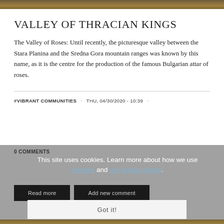[Figure (photo): Top image strip showing outdoor scene]
VALLEY OF THRACIAN KINGS
The Valley of Roses: Until recently, the picturesque valley between the Stara Planina and the Sredna Gora mountain ranges was known by this name, as it is the centre for the production of the famous Bulgarian attar of roses.
#VIBRANT COMMUNITIES · THU, 04/30/2020 - 10:39 ·
0 COMMENTS
This site uses cookies. Learn more about how we use cookies and our privacy policy.
Read more
Add new comment
Got it!
[Figure (photo): Bottom image strip showing outdoor scene]